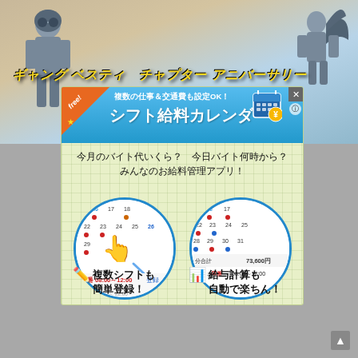[Figure (screenshot): Mobile game screenshot background with two characters — a soldier on the left and a winged figure on the right, set against a desert/sky landscape]
（ゲームタイトル文字）
[Figure (screenshot): App advertisement popup for シフト給料カレンダー (Shift Salary Calendar). Shows: 'free!' banner, subtitle '複数の仕事＆交通費も設定OK!', title 'シフト給料カレンダー', calendar icon, handwritten text '今月のバイト代いくら？ 今日バイト何時から？ みんなのお給料管理アプリ！', two circular screenshots of calendar app showing shift times (早番 08:00～12:00) and total 73,600円, bottom labels '複数シフトも簡単登録！' and '給与計算も自動で楽ちん！']